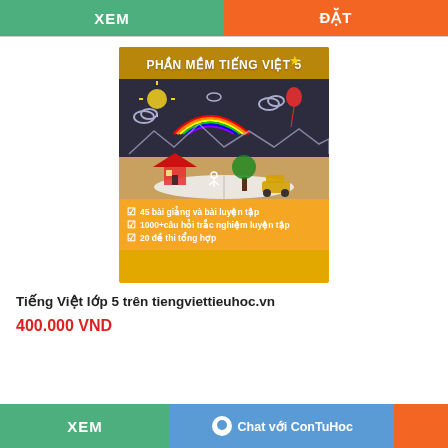[Figure (illustration): Product image for Phần Mềm Tiếng Việt 5 (Vietnamese Grade 5 software). Shows a dark chalkboard background with childlike drawings of a sun, rainbow, clouds, house, tree, balloon, and an open book in the foreground. Yellow banner at top with title and golden star. Yellow footer with three checklist items: 45 bài giảng và bài luyện tập, 1000+ câu hỏi trắc nghiệm luyện tập, 20 đề thi tổng hợp.]
Tiếng Việt lớp 5 trên tiengviettieuhoc.vn
400.000 VND